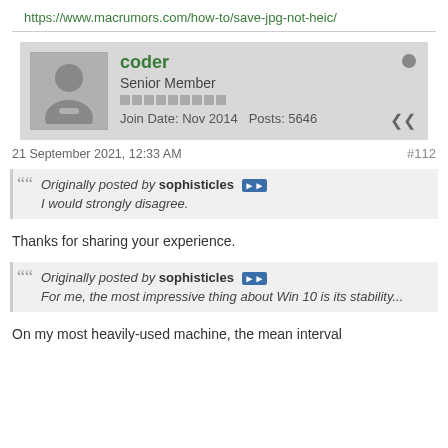https://www.macrumors.com/how-to/save-jpg-not-heic/
coder
Senior Member
Join Date: Nov 2014   Posts: 5646
21 September 2021, 12:33 AM    #112
Originally posted by sophisticles
I would strongly disagree.
Thanks for sharing your experience.
Originally posted by sophisticles
For me, the most impressive thing about Win 10 is its stability...
On my most heavily-used machine, the mean interval